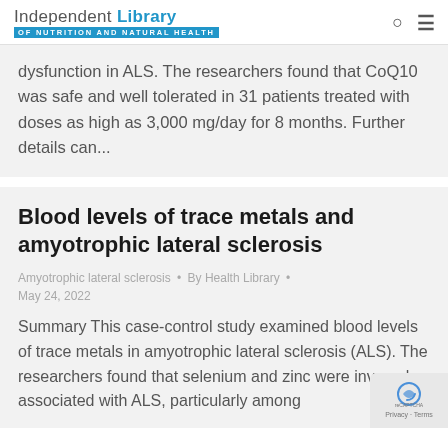Independent Library of Nutrition and Natural Health
dysfunction in ALS. The researchers found that CoQ10 was safe and well tolerated in 31 patients treated with doses as high as 3,000 mg/day for 8 months. Further details can...
Blood levels of trace metals and amyotrophic lateral sclerosis
Amyotrophic lateral sclerosis • By Health Library • May 24, 2022
Summary This case-control study examined blood levels of trace metals in amyotrophic lateral sclerosis (ALS). The researchers found that selenium and zinc were inversely associated with ALS, particularly among